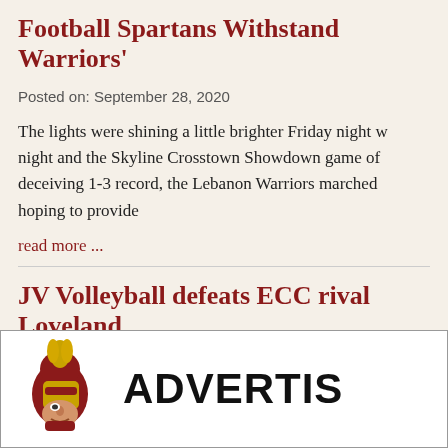Football Spartans Withstand Warriors'
Posted on: September 28, 2020
The lights were shining a little brighter Friday night w... night and the Skyline Crosstown Showdown game of... deceiving 1-3 record, the Lebanon Warriors marched... hoping to provide
read more ...
JV Volleyball defeats ECC rival Loveland
Posted on: September 27, 2020
[Figure (logo): Spartan mascot logo with helmet and the text ADVERTIS]